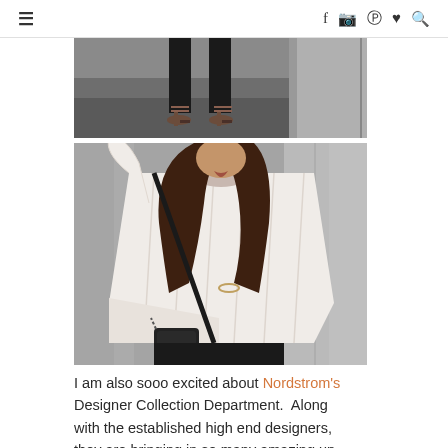≡  f  instagram  pinterest  ♥  search
[Figure (photo): Cropped photo of a woman's legs wearing black cropped trousers and strappy heeled sandals, standing on a street]
[Figure (photo): Photo of a woman wearing a white/cream asymmetric knit sweater and black pants with a black crossbody bag, posing on a blurred street background]
I am also sooo excited about Nordstrom's Designer Collection Department.  Along with the established high end designers, they are bringing in so many amazing up